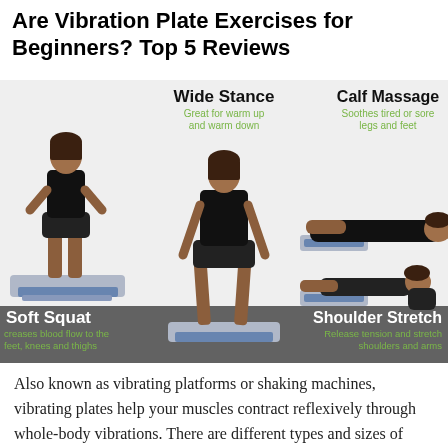Are Vibration Plate Exercises for Beginners? Top 5 Reviews
[Figure (infographic): Infographic showing four vibration plate exercises: Soft Squat (woman standing on vibration plate with hands on hips), Wide Stance (woman standing on plate feet apart), Calf Massage (woman lying with calves on plate), and Shoulder Stretch (woman kneeling with hands on plate, head down). Labels include green subtitle text describing benefits of each exercise.]
Also known as vibrating platforms or shaking machines, vibrating plates help your muscles contract reflexively through whole-body vibrations. There are different types and sizes of these machines from a wide range of manufacturers. You can purchase a vibration machine for use